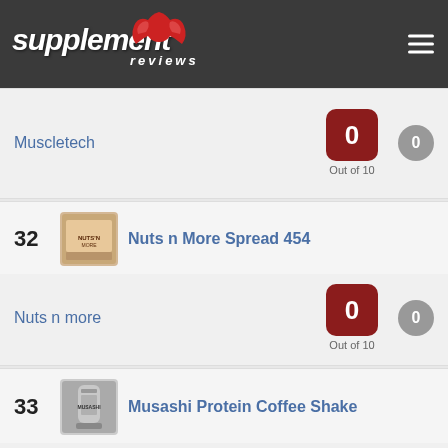[Figure (logo): Supplement Reviews logo with red muscle/bicep icon and white italic text on dark grey background]
Muscletech — Score: 0 Out of 10, Reviews: 0
32  Nuts n More Spread 454
Nuts n more — Score: 0 Out of 10, Reviews: 0
33  Musashi Protein Coffee Shake
Musashi — Score: 0 Out of 10, Reviews: 0